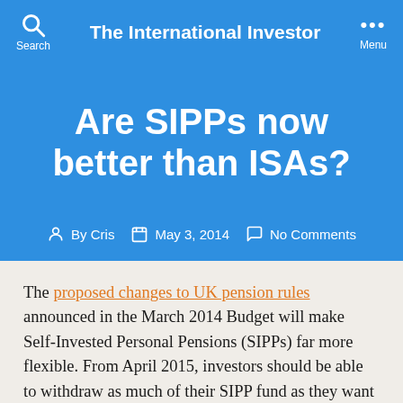The International Investor
Are SIPPs now better than ISAs?
By Cris   May 3, 2014   No Comments
The proposed changes to UK pension rules announced in the March 2014 Budget will make Self-Invested Personal Pensions (SIPPs) far more flexible. From April 2015, investors should be able to withdraw as much of their SIPP fund as they want immediately on retirement